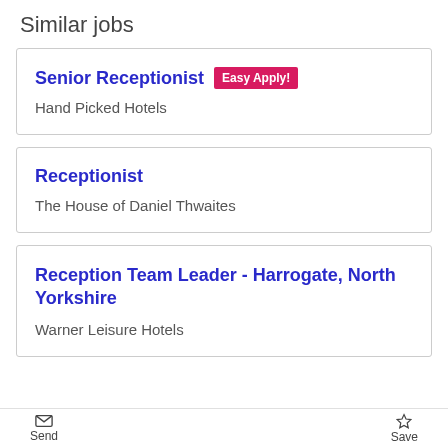Similar jobs
Senior Receptionist  Easy Apply!
Hand Picked Hotels
Receptionist
The House of Daniel Thwaites
Reception Team Leader - Harrogate, North Yorkshire
Warner Leisure Hotels
Send  Save